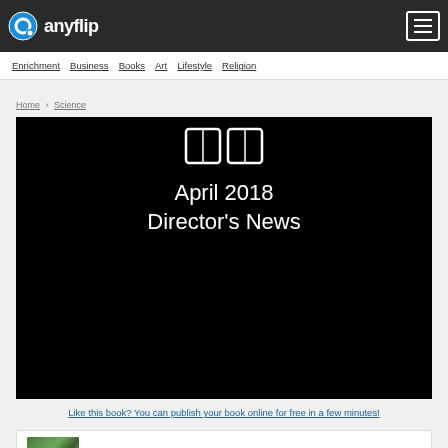anyflip
Enrichment  Business  Books  Art  Lifestyle  Religion
Home > Science
[Figure (screenshot): Dark image with book icon and text reading 'April 2018 Director's News' on black background]
Like this book? You can publish your book online for free in a few minutes!
Fort Atkinson Preschool and Childcare